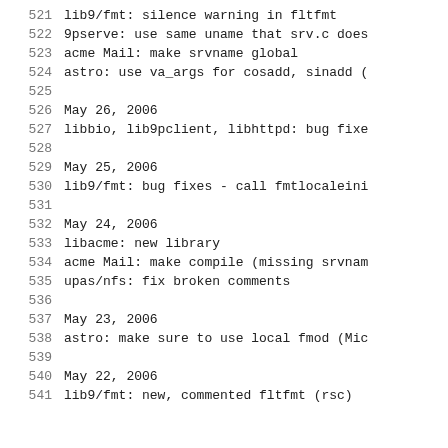521    lib9/fmt: silence warning in fltfmt
522    9pserve: use same uname that srv.c does
523    acme Mail: make srvname global
524    astro: use va_args for cosadd, sinadd (
525
526    May 26, 2006
527    libbio, lib9pclient, libhttpd: bug fixe
528
529    May 25, 2006
530    lib9/fmt: bug fixes - call fmtlocaleini
531
532    May 24, 2006
533    libacme: new library
534    acme Mail: make compile (missing srvnam
535    upas/nfs: fix broken comments
536
537    May 23, 2006
538    astro: make sure to use local fmod (Mic
539
540    May 22, 2006
541    lib9/fmt: new, commented fltfmt (rsc)